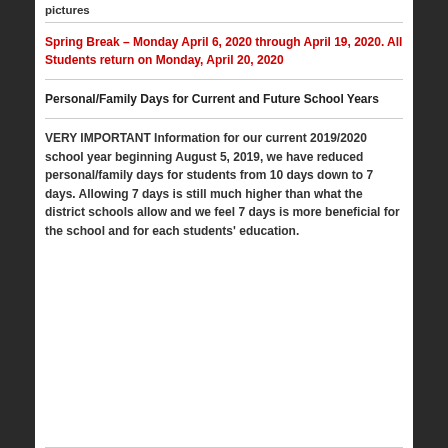pictures
Spring Break – Monday April 6, 2020 through April 19, 2020. All Students return on Monday, April 20, 2020
Personal/Family Days for Current and Future School Years
VERY IMPORTANT Information for our current 2019/2020 school year beginning August 5, 2019, we have reduced personal/family days for students from 10 days down to 7 days. Allowing 7 days is still much higher than what the district schools allow and we feel 7 days is more beneficial for the school and for each students' education.